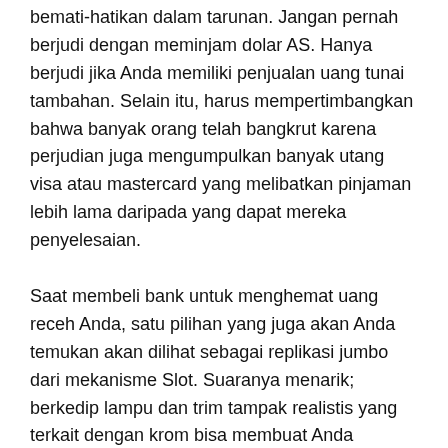bemati-hatikan dalam tarunan. Jangan pernah berjudi dengan meminjam dolar AS. Hanya berjudi jika Anda memiliki penjualan uang tunai tambahan. Selain itu, harus mempertimbangkan bahwa banyak orang telah bangkrut karena perjudian juga mengumpulkan banyak utang visa atau mastercard yang melibatkan pinjaman lebih lama daripada yang dapat mereka penyelesaian.
Saat membeli bank untuk menghemat uang receh Anda, satu pilihan yang juga akan Anda temukan akan dilihat sebagai replikasi jumbo dari mekanisme Slot. Suaranya menarik; berkedip lampu dan trim tampak realistis yang terkait dengan krom bisa membuat Anda berkedip dua kali untuk menentukan apakah Anda benar-benar berada di kasino.
Lebih buruk lagi adalah bahwa persentase selalu